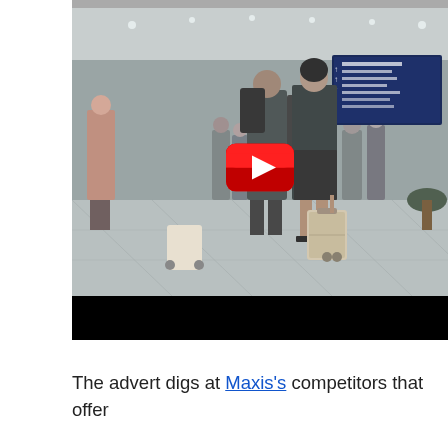[Figure (screenshot): A YouTube video thumbnail showing an airport scene in black and white/desaturated. People are walking through an airport terminal, including a woman in business attire pulling a suitcase. A red YouTube play button is overlaid in the center of the image.]
The advert digs at Maxis's competitors that offer